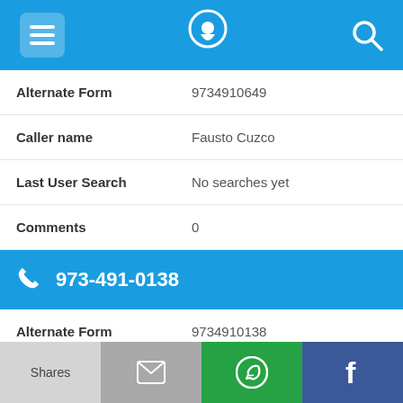Navigation bar with menu, phone locator, and search icons
| Field | Value |
| --- | --- |
| Alternate Form | 9734910649 |
| Caller name | Fausto Cuzco |
| Last User Search | No searches yet |
| Comments | 0 |
973-491-0138
| Field | Value |
| --- | --- |
| Alternate Form | 9734910138 |
| Caller name | L. Vommaro |
Shares | (mail icon) | (WhatsApp icon) | (Facebook icon)